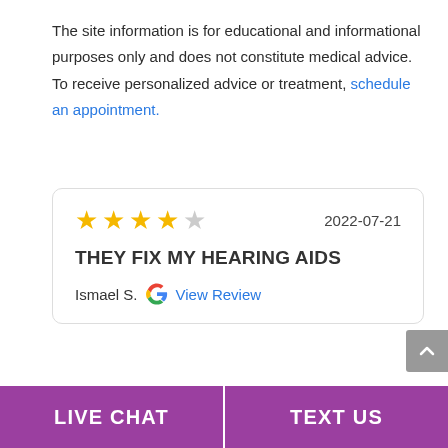The site information is for educational and informational purposes only and does not constitute medical advice. To receive personalized advice or treatment, schedule an appointment.
[Figure (other): Review card with 4 out of 5 gold stars rating, date 2022-07-21, review title THEY FIX MY HEARING AIDS, reviewer name Ismael S. with Google logo and View Review link]
LIVE CHAT
TEXT US